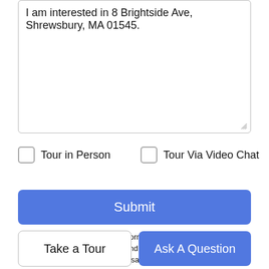I am interested in 8 Brightside Ave, Shrewsbury, MA 01545.
Tour in Person
Tour Via Video Chat
Submit
Disclaimer: By entering your information and submitting this form, you agree to our Terms of Use and Privacy Policy and that you may be contacted by phone, text message and email about your inquiry.
The property listing data and information set forth herein were
Take a Tour
Ask A Question